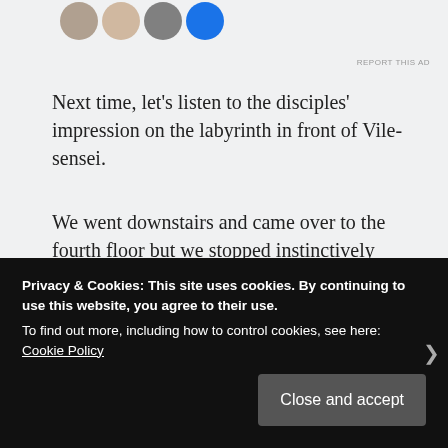[Figure (photo): Row of circular avatar images (profile photos) at top of page, with a blue filled circle at the end]
REPORT THIS AD
Next time, let’s listen to the disciples’ impression on the labyrinth in front of Vile-sensei.
We went downstairs and came over to the fourth floor but we stopped instinctively because we felt unusual presence.
“Apparently, the number of traps is decreasing but…” (Sirius)
Privacy & Cookies: This site uses cookies. By continuing to use this website, you agree to their use.
To find out more, including how to control cookies, see here: Cookie Policy